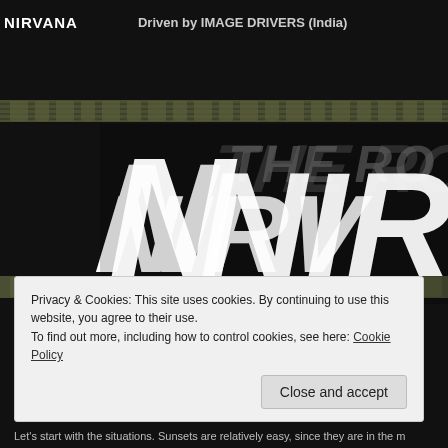NIRVANA   Driven by IMAGE DRIVERS (India)
[Figure (photo): Hero banner image with large distressed white text reading 'N THE RO NIRV' on a black background with olive/khaki tire track bands above and below the text. The text is partially cropped on the right side.]
Privacy & Cookies: This site uses cookies. By continuing to use this website, you agree to their use.
To find out more, including how to control cookies, see here: Cookie Policy
Close and accept
Let's start with the situations. Sunsets are relatively easy, since they are in the m